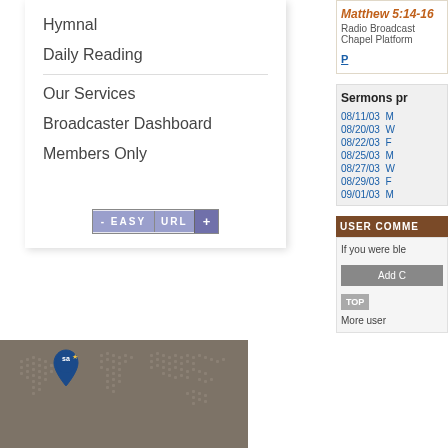Hymnal
Daily Reading
Our Services
Broadcaster Dashboard
Members Only
[Figure (screenshot): Easy URL button with plus sign]
[Figure (map): World map with SA pin marker in North America region]
Matthew 5:14-16
Radio Broadcast
Chapel Platform
P
Sermons pr
08/11/03 M
08/20/03 W
08/22/03 F
08/25/03 M
08/27/03 W
08/29/03 F
09/01/03 M
USER COMME
If you were ble
Add C
More user